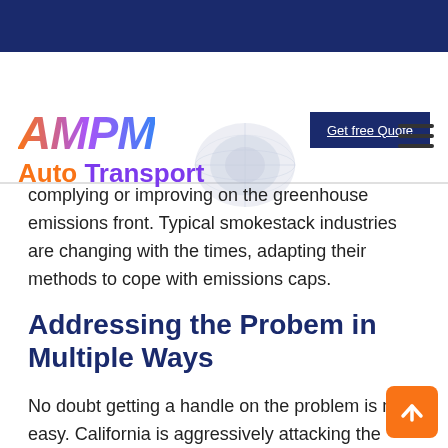AMPM Auto Transport — Get free Quote
complying or improving on the greenhouse emissions front. Typical smokestack industries are changing with the times, adapting their methods to cope with emissions caps.
Addressing the Probem in Multiple Ways
No doubt getting a handle on the problem is not easy. California is aggressively attacking the problem at least. There's more than 120 laws and incentives on the books to encourage clean fuels and cars. Plus, the state has spent a ton of money on charging station infrastructure. Furthermore, the state has back up its talk and legislation by replacing half of its light duty vehicle fleet with